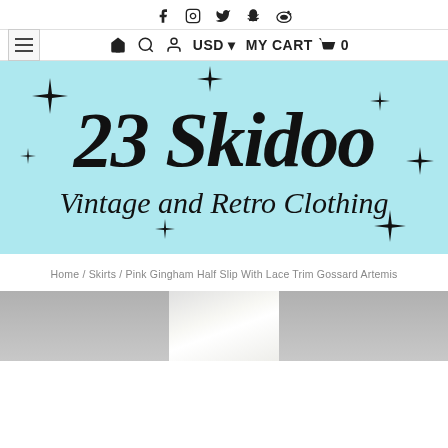Social media icons: Facebook, Instagram, Twitter, Snapchat, Weibo
Navigation bar: hamburger menu, home, search, account, USD, MY CART 0
[Figure (logo): 23 Skidoo Vintage and Retro Clothing logo on light blue background with decorative star/sparkle elements]
Home / Skirts / Pink Gingham Half Slip With Lace Trim Gossard Artemis
[Figure (photo): Product photo of Pink Gingham Half Slip With Lace Trim Gossard Artemis, partial view showing gray/silver fabric]